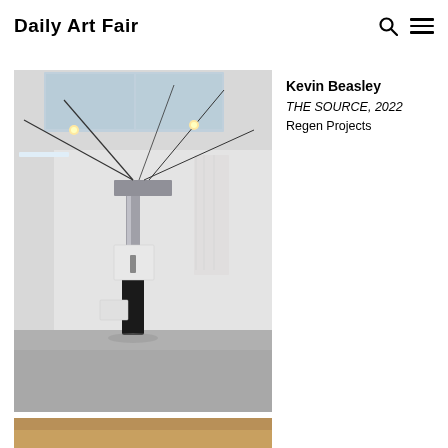Daily Art Fair
[Figure (photo): Gallery installation photo showing Kevin Beasley's THE SOURCE artwork, a tall sculptural pillar with industrial components, wires and cables extending to the ceiling in a white gallery space with concrete floor.]
Kevin Beasley
THE SOURCE, 2022
Regen Projects
[Figure (photo): Partial view of another artwork at the bottom of the page, showing a warm tan/golden color.]